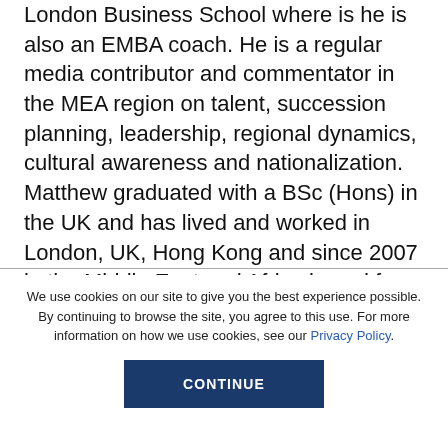London Business School where is he is also an EMBA coach. He is a regular media contributor and commentator in the MEA region on talent, succession planning, leadership, regional dynamics, cultural awareness and nationalization. Matthew graduated with a BSc (Hons) in the UK and has lived and worked in London, UK, Hong Kong and since 2007 in the Middle East and Africa based from Dubai, UAE
We use cookies on our site to give you the best experience possible. By continuing to browse the site, you agree to this use. For more information on how we use cookies, see our Privacy Policy.
CONTINUE